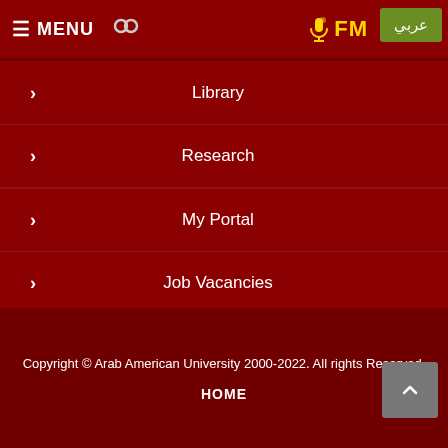≡ MENU | FM | عربي
Library
Research
My Portal
Job Vacancies
Help Desk
Sitemap
Copyright © Arab American University 2000-2022. All rights Reserved.
HOME